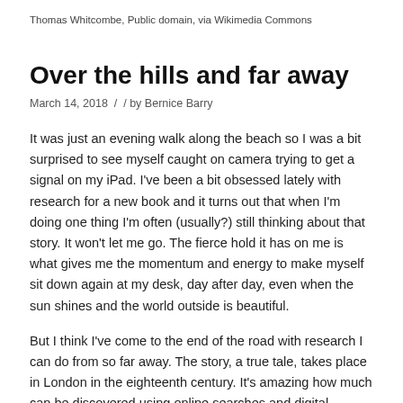Thomas Whitcombe, Public domain, via Wikimedia Commons
Over the hills and far away
March 14, 2018  /  / by Bernice Barry
It was just an evening walk along the beach so I was a bit surprised to see myself caught on camera trying to get a signal on my iPad. I've been a bit obsessed lately with research for a new book and it turns out that when I'm doing one thing I'm often (usually?) still thinking about that story. It won't let me go. The fierce hold it has on me is what gives me the momentum and energy to make myself sit down again at my desk, day after day, even when the sun shines and the world outside is beautiful.
But I think I've come to the end of the road with research I can do from so far away. The story, a true tale, takes place in London in the eighteenth century. It's amazing how much can be discovered using online searches and digital images of